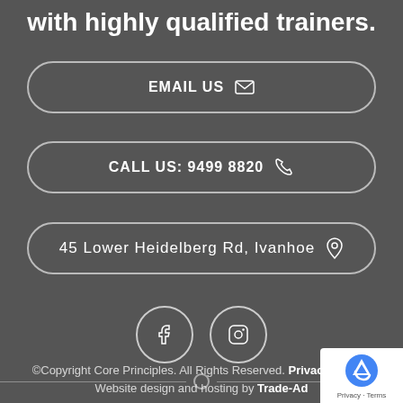with highly qualified trainers.
EMAIL US
CALL US: 9499 8820
45 Lower Heidelberg Rd, Ivanhoe
[Figure (infographic): Facebook and Instagram social media icons in circles]
©Copyright Core Principles. All Rights Reserved. Privacy Policy. Website design and hosting by Trade-Ad